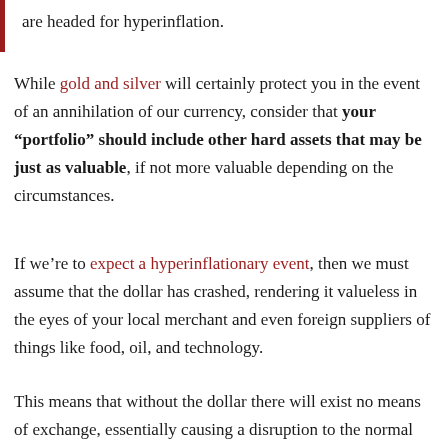are headed for hyperinflation.
While gold and silver will certainly protect you in the event of an annihilation of our currency, consider that your “portfolio” should include other hard assets that may be just as valuable, if not more valuable depending on the circumstances.
If we’re to expect a hyperinflationary event, then we must assume that the dollar has crashed, rendering it valueless in the eyes of your local merchant and even foreign suppliers of things like food, oil, and technology.
This means that without the dollar there will exist no means of exchange, essentially causing a disruption to the normal flow of commerce.